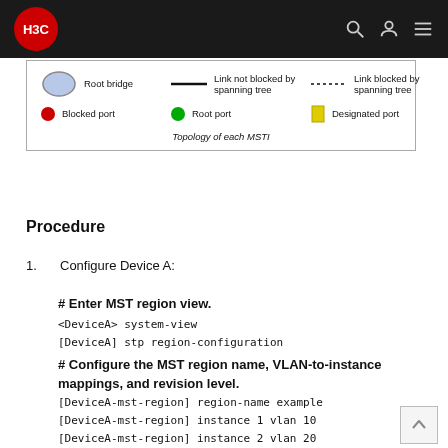H3C
[Figure (illustration): Network diagram legend box showing: Root bridge (blue ellipse), Link not blocked by spanning tree (solid line), Link blocked by spanning tree (dotted line), Blocked port (red circle), Root port (green circle), Designated port (yellow rectangle). Caption: Topology of each MSTI.]
Procedure
1. Configure Device A:
# Enter MST region view.
<DeviceA> system-view
[DeviceA] stp region-configuration
# Configure the MST region name, VLAN-to-instance mappings, and revision level.
[DeviceA-mst-region] region-name example
[DeviceA-mst-region] instance 1 vlan 10
[DeviceA-mst-region] instance 2 vlan 20